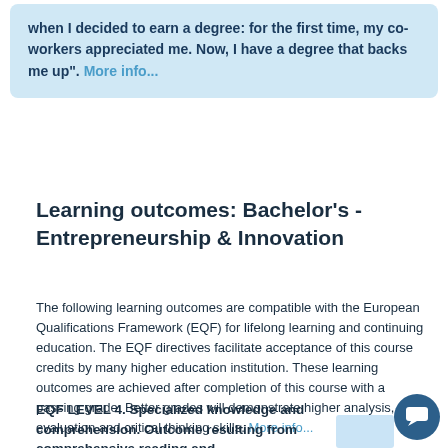when I decided to earn a degree: for the first time, my co-workers appreciated me. Now, I have a degree that backs me up". More info...
Learning outcomes: Bachelor's - Entrepreneurship & Innovation
The following learning outcomes are compatible with the European Qualifications Framework (EQF) for lifelong learning and continuing education. The EQF directives facilitate acceptance of this course credits by many higher education institution. These learning outcomes are achieved after completion of this course with a passing grade. Better grades will demonstrate higher analysis, evaluation and critical thinking skills. More info...
EQF LEVEL 4. Specialized knowledge and comprehension. Outcome resulting from comprehensive reading and